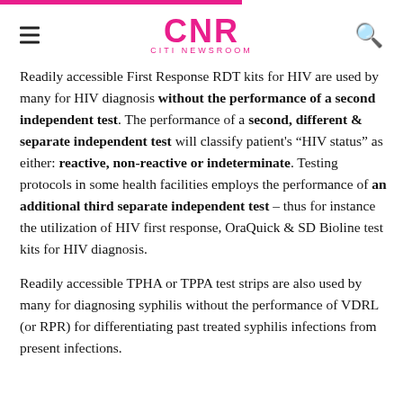CNR CITI NEWSROOM
Readily accessible First Response RDT kits for HIV are used by many for HIV diagnosis without the performance of a second independent test. The performance of a second, different & separate independent test will classify patient’s “HIV status” as either: reactive, non-reactive or indeterminate. Testing protocols in some health facilities employs the performance of an additional third separate independent test – thus for instance the utilization of HIV first response, OraQuick & SD Bioline test kits for HIV diagnosis.
Readily accessible TPHA or TPPA test strips are also used by many for diagnosing syphilis without the performance of VDRL (or RPR) for differentiating past treated syphilis infections from present infections.